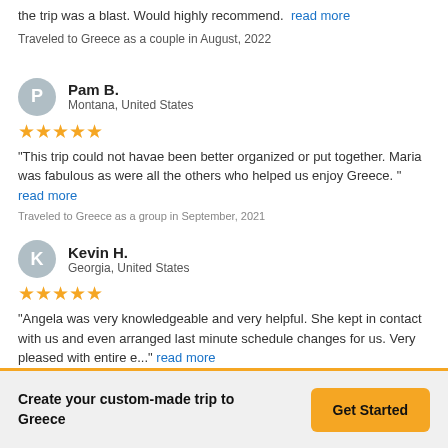the trip was a blast. Would highly recommend.   read more
Traveled to Greece as a couple in August, 2022
Pam B.
Montana, United States
★★★★★
"This trip could not havae been better organized or put together. Maria was fabulous as were all the others who helped us enjoy Greece." read more
Traveled to Greece as a group in September, 2021
Kevin H.
Georgia, United States
★★★★★
"Angela was very knowledgeable and very helpful. She kept in contact with us and even arranged last minute schedule changes for us. Very pleased with entire e..." read more
Traveled to Greece as a family in August, 2022
Create your custom-made trip to Greece
Get Started